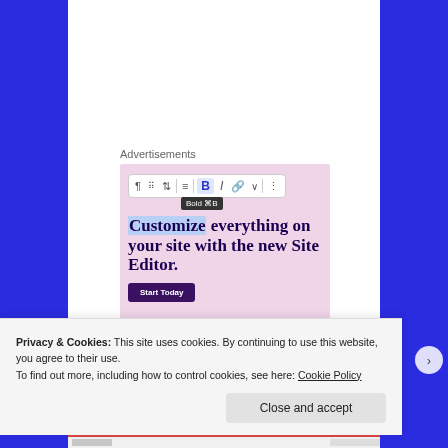Advertisements
[Figure (screenshot): Screenshot of a WordPress/website editor showing a toolbar with Bold, Italic, Link and other buttons, with a tooltip showing 'Bold ⌘B'. The editor canvas shows the text 'Customize everything on your site with the new Site Editor.' with 'Customize' highlighted in light blue, and a dark purple 'Start Today' button below. The background is pink/mauve.]
The upside of this revelation was that I was free to return to the first cliff and climb as many of the rad
Privacy & Cookies: This site uses cookies. By continuing to use this website, you agree to their use.
To find out more, including how to control cookies, see here: Cookie Policy
Close and accept